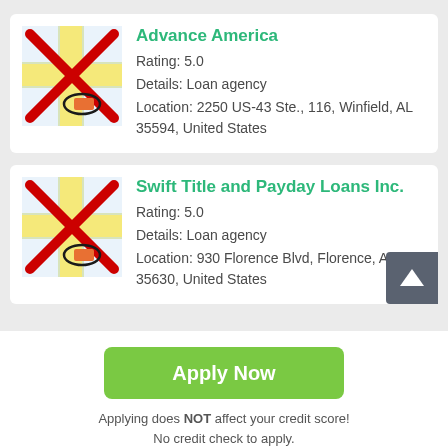Advance America
Rating: 5.0
Details: Loan agency
Location: 2250 US-43 Ste., 116, Winfield, AL 35594, United States
Swift Title and Payday Loans Inc.
Rating: 5.0
Details: Loan agency
Location: 930 Florence Blvd, Florence, AL 35630, United States
Apply Now
Applying does NOT affect your credit score! No credit check to apply.